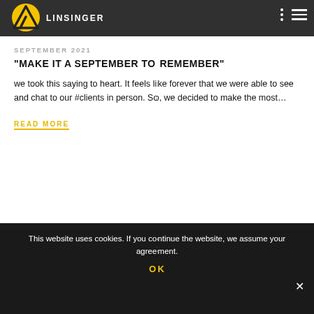LINSINGER
SEPTEMBER 2021
"MAKE IT A SEPTEMBER TO REMEMBER"
we took this saying to heart. It feels like forever that we were able to see and chat to our #clients in person. So, we decided to make the most…
READ MORE
This website uses cookies. If you continue the website, we assume your agreement.
OK